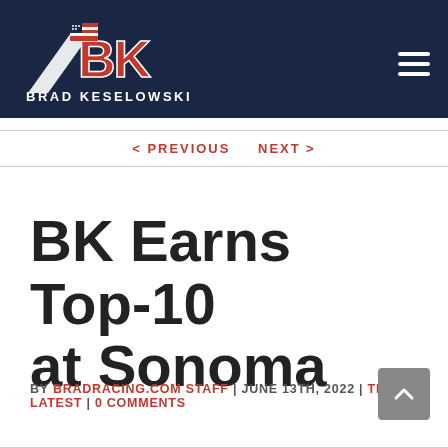[Figure (logo): Brad Keselowski BK logo with American flag on dark navy header background]
< PREVIOUS   NEXT >
BK Earns Top-10 at Sonoma
BY BRADRACING.COM STAFF | JUNE 13TH, 2022 | THE LATEST | 0 COMMENTS